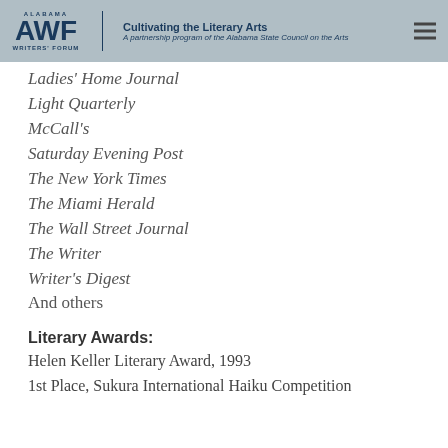Alabama Writers' Forum — Cultivating the Literary Arts — A partnership program of the Alabama State Council on the Arts
Ladies' Home Journal
Light Quarterly
McCall's
Saturday Evening Post
The New York Times
The Miami Herald
The Wall Street Journal
The Writer
Writer's Digest
And others
Literary Awards:
Helen Keller Literary Award, 1993
1st Place, Sukura International Haiku Competition